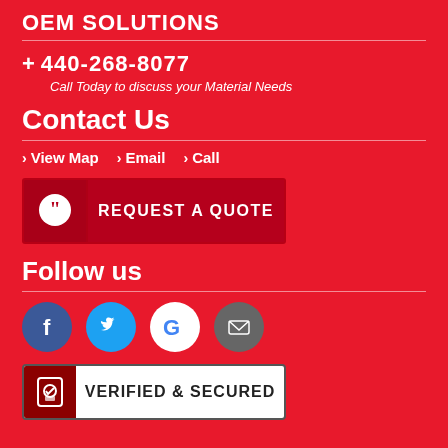OEM SOLUTIONS
+ 440-268-8077
Call Today to discuss your Material Needs
Contact Us
> View Map  > Email  > Call
[Figure (other): REQUEST A QUOTE button with speech bubble icon]
Follow us
[Figure (other): Social media icons: Facebook, Twitter, Google, Email]
[Figure (other): VERIFIED & SECURED badge with lock icon]